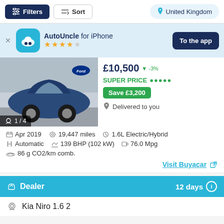Filters  Sort  United Kingdom
[Figure (screenshot): AutoUncle for iPhone app banner with 4.5 star rating and 'To the app' button]
[Figure (photo): Blue Kia Niro SUV car listing photo, 1/4 images]
£10,500 ▼ -3% SUPER PRICE ●●●●● Save £3,200 Delivered to you
Apr 2019  19,447 miles  1.6L Electric/Hybrid  Automatic  139 BHP (102 kW)  76.0 Mpg  86 g CO2/km comb.
Visit Buyacar
Dealer  12 days
Kia Niro 1.6 2